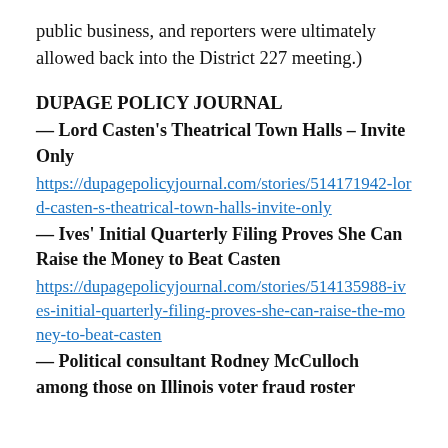public business, and reporters were ultimately allowed back into the District 227 meeting.)
DUPAGE POLICY JOURNAL
— Lord Casten's Theatrical Town Halls – Invite Only
https://dupagepolicyjournal.com/stories/514171942-lord-casten-s-theatrical-town-halls-invite-only
— Ives' Initial Quarterly Filing Proves She Can Raise the Money to Beat Casten
https://dupagepolicyjournal.com/stories/514135988-ives-initial-quarterly-filing-proves-she-can-raise-the-money-to-beat-casten
— Political consultant Rodney McCulloch among those on Illinois voter fraud roster